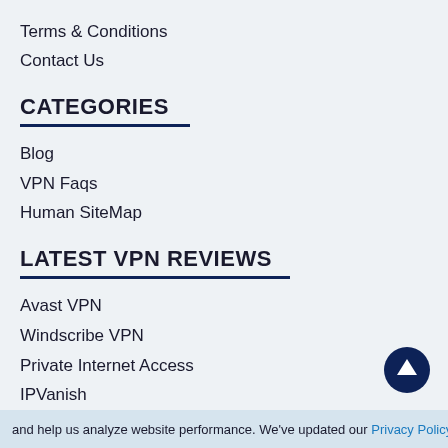Terms & Conditions
Contact Us
CATEGORIES
Blog
VPN Faqs
Human SiteMap
LATEST VPN REVIEWS
Avast VPN
Windscribe VPN
Private Internet Access
IPVanish
TunnelBear
[Figure (illustration): Back to top arrow button - circular dark navy button with upward arrow icon]
and help us analyze website performance. We've updated our Privacy Policy